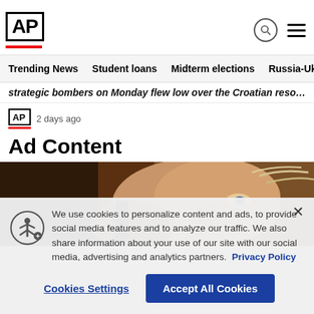AP
Trending News  Student loans  Midterm elections  Russia-Ukr
strategic bombers on Monday flew low over the Croatian resor...
AP  2 days ago
Ad Content
[Figure (photo): Close-up photo of an elderly man's face, looking upward]
We use cookies to personalize content and ads, to provide social media features and to analyze our traffic. We also share information about your use of our site with our social media, advertising and analytics partners. Privacy Policy
Cookies Settings   Accept All Cookies